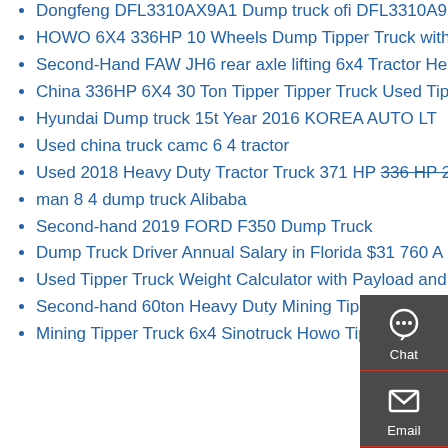Dongfeng DFL3310AX9A1 Dump truck ofi DFL3310A9
HOWO 6X4 336HP 10 Wheels Dump Tipper Truck with LHD
Second-Hand FAW JH6 rear axle lifting 6x4 Tractor Head Truck for sale
China 336HP 6X4 30 Ton Tipper Tipper Truck Used Tipper Truck
Hyundai Dump truck 15t Year 2016 KOREA AUTO LT
Used china truck camc 6 4 tractor
Used 2018 Heavy Duty Tractor Truck 371 HP 336 HP 260 HP
man 8 4 dump truck Alibaba
Second-hand 2019 FORD F350 Dump Truck
Dump Truck Driver Annual Salary in Florida $31 760 A
Used Tipper Truck Weight Calculator with Payload and Revenue
Second-hand 60ton Heavy Duty Mining Tipper Tipper Truck 430HP
Mining Tipper Truck 6x4 Sinotruck Howo Tipper Truck Used Tipper Trucks
[Figure (infographic): Dark sidebar widget with Chat, Email, Contact, and Top navigation buttons with icons]